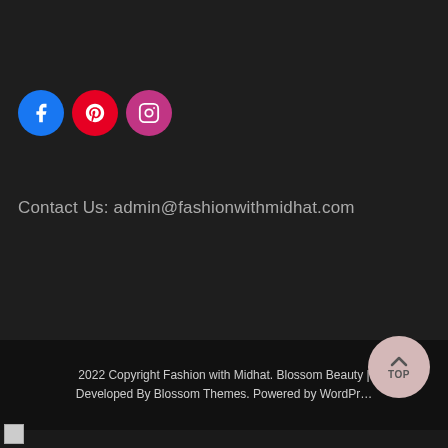[Figure (other): Social media icons: Facebook (blue circle), Pinterest (red circle), Instagram (pink/magenta circle)]
Contact Us: admin@fashionwithmidhat.com
2022 Copyright Fashion with Midhat. Blossom Beauty | Developed By Blossom Themes. Powered by WordPress
[Figure (other): Back to top button - circular button with upward arrow and TOP text]
[Figure (other): Small broken image icon at bottom left]